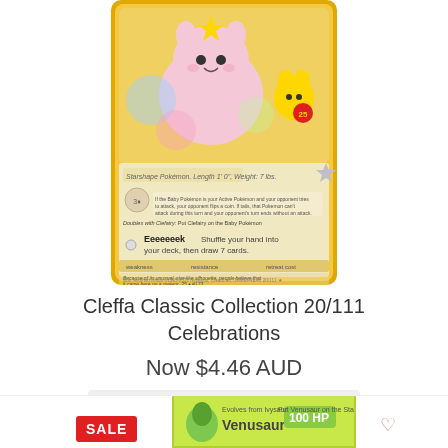[Figure (photo): Pokemon trading card - Cleffa Classic Collection 20/111 Celebrations, shown with yellow border and card artwork featuring Cleffa and Pikachu]
Cleffa Classic Collection 20/111 Celebrations
Now $4.46 AUD
ADD TO CART
[Figure (photo): Bottom portion of a Venusaur Pokemon card with green background and 100 HP text, with a SALE badge overlay and heart/wishlist icon]
SALE
Venusaur
100 HP